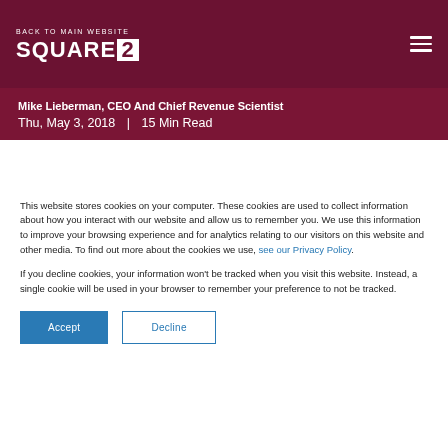BACK TO MAIN WEBSITE
[Figure (logo): Square 2 logo in white on dark red background]
Mike Lieberman, CEO And Chief Revenue Scientist
Thu, May 3, 2018  |  15 Min Read
This website stores cookies on your computer. These cookies are used to collect information about how you interact with our website and allow us to remember you. We use this information to improve your browsing experience and for analytics relating to our visitors on this website and other media. To find out more about the cookies we use, see our Privacy Policy.
If you decline cookies, your information won't be tracked when you visit this website. Instead, a single cookie will be used in your browser to remember your preference to not be tracked.
Accept | Decline